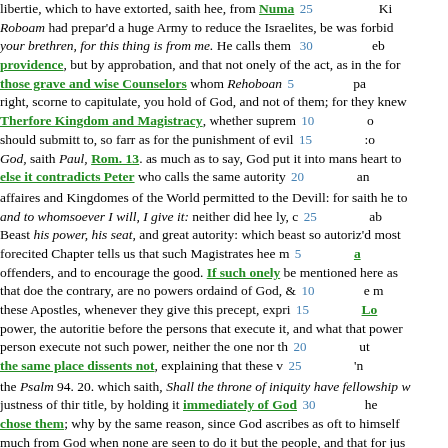libertie, which to have extorted, saith hee, from Numa 25 Ki Roboam had prepar'd a huge Army to reduce the Israelites, be was forbid your brethren, for this thing is from me. He calls them 30 providence, but by approbation, and that not onely of the act, as in the for those grave and wise Counselors whom Rehoboan 5 pa right, scorne to capitulate, you hold of God, and not of them; for they knew Therfore Kingdom and Magistracy, whether suprem 10 should submitt to, so farr as for the punishment of evil 15 :o God, saith Paul, Rom. 13. as much as to say, God put it into mans heart to else it contradicts Peter who calls the same autority 20 an affaires and Kingdomes of the World permitted to the Devill: for saith he to and to whomsoever I will, I give it: neither did hee ly, c 25 ab Beast his power, his seat, and great autority: which beast so autoriz'd most forecited Chapter tells us that such Magistrates hee m 5 a offenders, and to encourage the good. If such onely be mentioned here as that doe the contrary, are no powers ordaind of God, a 10 e m these Apostles, whenever they give this precept, expri 15 L power, the autoritie before the persons that execute it, and what that power person execute not such power, neither the one nor th 20 ut the same place dissents not, explaining that these v 25 n the Psalm 94. 20. which saith, Shall the throne of iniquity have fellowship w justness of thir title, by holding it immediately of God 30 he chose them; why by the same reason, since God ascribes as oft to himself much from God when none are seen to do it but the people, and that for jus elected. And contrary if the peoples act in election be 5 as rejection be as well pleaded by the people as the act o 10 st reference to God, is found in Scripture to be all one; visible onely in the peo the power of Kings and Magistrates; how it was, and is 15 le libertie therfore and right remaining in them to reassur 20 if most conducing to the public good. We may from hence with more ease, and force of argument determin whe